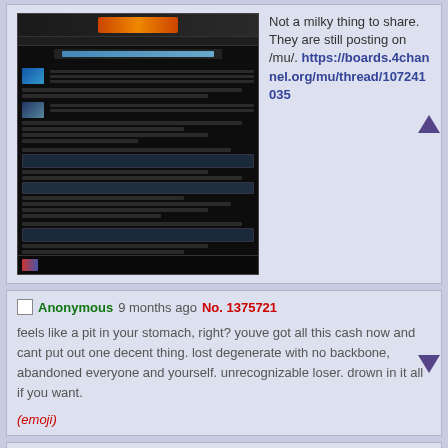[Figure (screenshot): Screenshot of a 4chan imageboard thread page with dark theme]
Not a milky thing to share. They are still posting on /mu/. https://boards.4channel.org/mu/thread/107241035
Anonymous 9 months ago No. 1375721
feels like a pit in your stomach, right? youve got all this cash now and cant put out one decent thing. lost degenerate with no backbone, abandoned everyone and yourself. unrecognizable loser. drown in it all if you want.
(emoji)
Anonymous 9 months ago No. 1375725